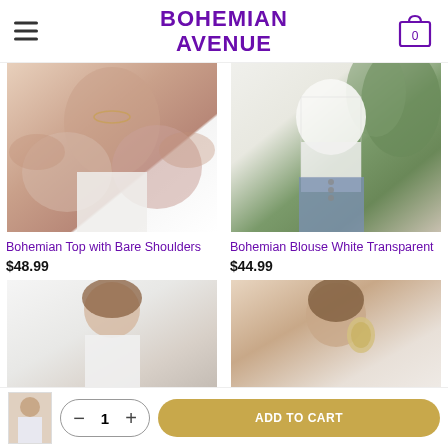BOHEMIAN AVENUE
[Figure (photo): Woman wearing a bohemian top with bare shoulders, puff sleeves, dusty pink/mauve color, white pants, with necklace and rings]
Bohemian Top with Bare Shoulders
$48.99
[Figure (photo): Woman wearing a bohemian white transparent lace blouse over jeans with buttons, with tropical plant background]
Bohemian Blouse White Transparent
$44.99
[Figure (photo): Woman smiling wearing white top, hair blowing, outdoor setting]
[Figure (photo): Woman with large statement earrings, wearing spaghetti strap top]
[Figure (photo): Small thumbnail image of a woman in casual outfit]
ADD TO CART